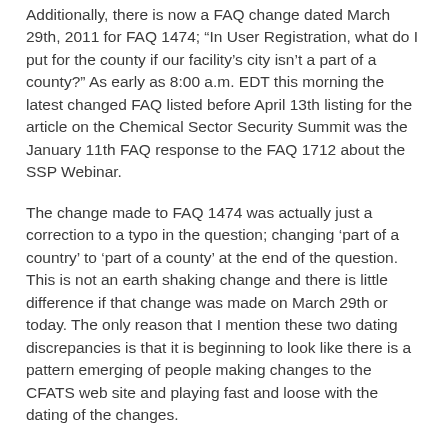Additionally, there is now a FAQ change dated March 29th, 2011 for FAQ 1474; “In User Registration, what do I put for the county if our facility’s city isn’t a part of a county?” As early as 8:00 a.m. EDT this morning the latest changed FAQ listed before April 13th listing for the article on the Chemical Sector Security Summit was the January 11th FAQ response to the FAQ 1712 about the SSP Webinar.
The change made to FAQ 1474 was actually just a correction to a typo in the question; changing ‘part of a country’ to ‘part of a county’ at the end of the question. This is not an earth shaking change and there is little difference if that change was made on March 29th or today. The only reason that I mention these two dating discrepancies is that it is beginning to look like there is a pattern emerging of people making changes to the CFATS web site and playing fast and loose with the dating of the changes.
These dates have little to do with the information provided, they were added to the web pages (a move I applauded years ago) to make it easier to track when changes are made to pages. The games apparently being played with